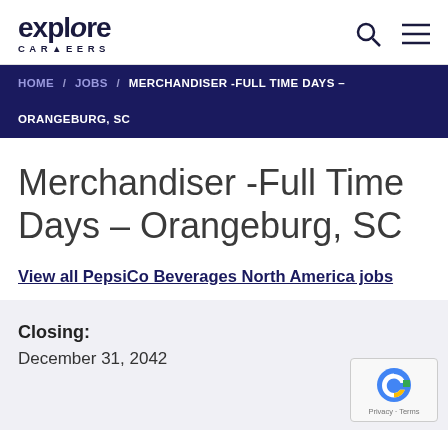explore CAREERS
HOME / JOBS / MERCHANDISER -FULL TIME DAYS – ORANGEBURG, SC
Merchandiser -Full Time Days – Orangeburg, SC
View all PepsiCo Beverages North America jobs
Closing:
December 31, 2042